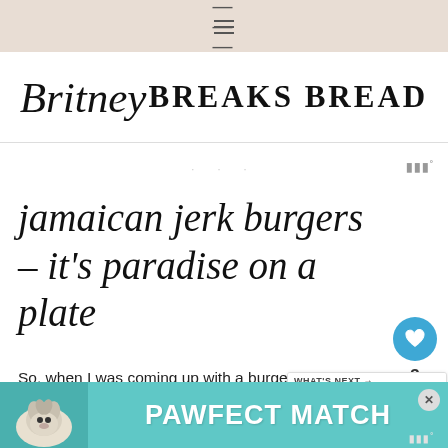≡
Britney BREAKS BREAD
[Figure (other): Small advertisement placeholder dots with WPP badge]
jamaican jerk burgers - it's paradise on a plate
So, when I was coming up with a burger recipe, my mind immediately thought... if you make a Jamaican Jerk Burger, add some caramelized pineapples and red onions and throw it all together. Well, it w... and Pineapp... ly w...n't
[Figure (infographic): What's Next panel showing Sweet Potato and Pineapple dish thumbnail with label 'WHAT'S NEXT → Sweet Potato and Pineapp...']
[Figure (infographic): Bottom advertisement banner with dog image and text PAWFECT MATCH on teal background with close button]